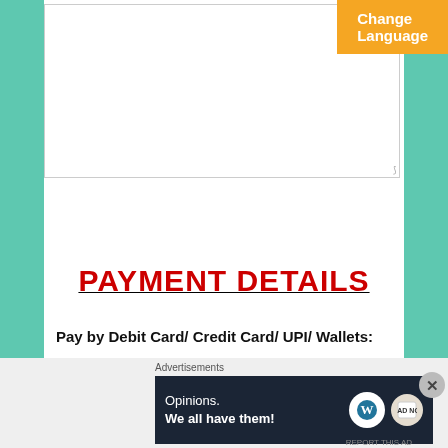[Figure (screenshot): Orange 'Change Language' button in upper right of white content area]
[Figure (screenshot): Large white textarea input box for user text entry]
[Figure (screenshot): Gray 'Submit' button]
PAYMENT DETAILS
Pay by Debit Card/ Credit Card/ UPI/ Wallets:
Advertisements
[Figure (screenshot): Advertisement banner: Opinions. We all have them! with WordPress logo on dark navy background]